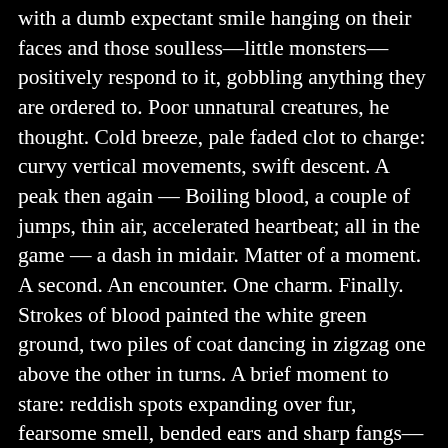with a dumb expectant smile hanging on their faces and those soulless—little monsters—positively respond to it, gobbling anything they are ordered to. Poor unnatural creatures, he thought. Cold breeze, pale faded clot to charge: curvy vertical movements, swift descent. A peak then again — Boiling blood, a couple of jumps, thin air, accelerated heartbeat; all in the game — a dash in midair. Matter of a moment. A second. An encounter. One charm. Finally. Strokes of blood painted the white green ground, two piles of coat dancing in zigzag one above the other in turns. A brief moment to stare: reddish spots expanding over fur, fearsome smell, bended ears and sharp fangs— eye to eye —glowing. More silent stares reflected a barking beast. The chill floated as of waiting suspension— another clash, now upside down. They changed positions as the half-arch of light, incomplete, shone over massive heavy bites penetrating flesh and live tissue. At dawn, the sun blossomed centerfold ripping the fabrics sky, warming every